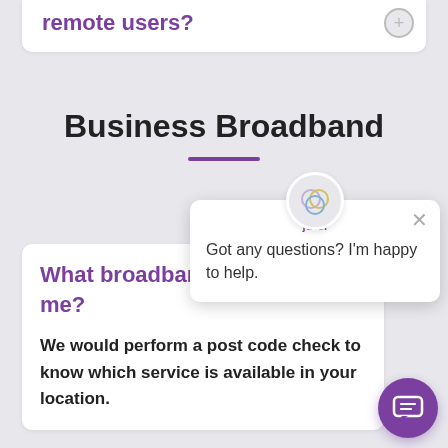remote users?
Business Broadband
What broadband… me?
We would perform a post code check to know which service is available in your location.
Got any questions? I'm happy to help.